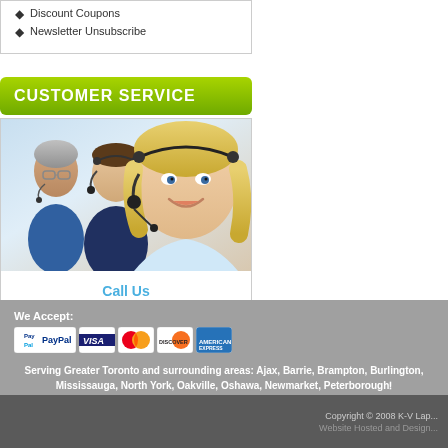Discount Coupons
Newsletter Unsubscribe
CUSTOMER SERVICE
[Figure (photo): Customer service representatives with headsets, smiling]
Call Us
(905) 886-3800
We Accept:
[Figure (illustration): Payment method icons: PayPal, Visa, MasterCard, Discover, American Express]
Serving Greater Toronto and surrounding areas: Ajax, Barrie, Brampton, Burlington, Mississauga, North York, Oakville, Oshawa, Newmarket, Peterborough... Prices listed in Canadian Dollars (CAD).
Copyright © 2008 K-V Lap... Website Hosted and Designed...